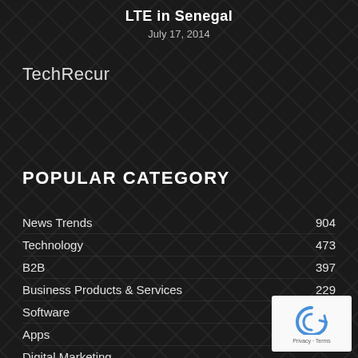LTE in Senegal
July 17, 2014
TechRecur
POPULAR CATEGORY
News Trends  904
Technology  473
B2B  397
Business Products & Services  229
Software  184
Apps  177
Digital Marketing
Web Resources